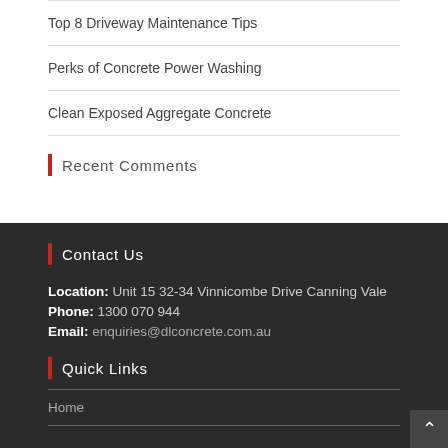Top 8 Driveway Maintenance Tips
Perks of Concrete Power Washing
Clean Exposed Aggregate Concrete
Recent Comments
Contact Us
Location: Unit 15 32-34 Vinnicombe Drive Canning Vale
Phone: 1300 070 944
Email: enquiries@dlconcrete.com.au
Quick Links
Home